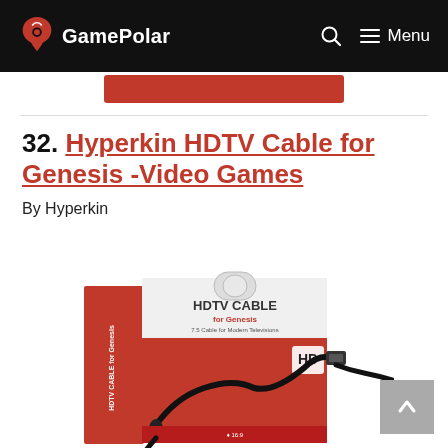GamePolar — Menu
32. Hyperkin HDTV Cable for Genesis -Video Games
By Hyperkin
[Figure (photo): Product photo of Hyperkin HDTV Cable for Genesis packaging box — a red and white retail box showing the cable (black HDTV cable with connector) and 'HD' badge on the front, with 'HDTV CABLE for Genesis' printed on the side.]